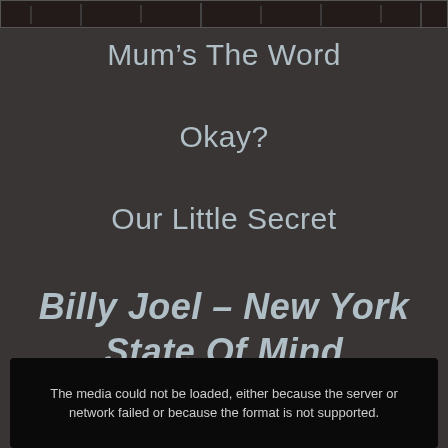[Figure (photo): Partial top portion of a dark photograph, partially visible at the top of the page]
Mum’s The Word
Okay?
Our Little Secret
Billy Joel – New York State Of Mind
The media could not be loaded, either because the server or network failed or because the format is not supported.